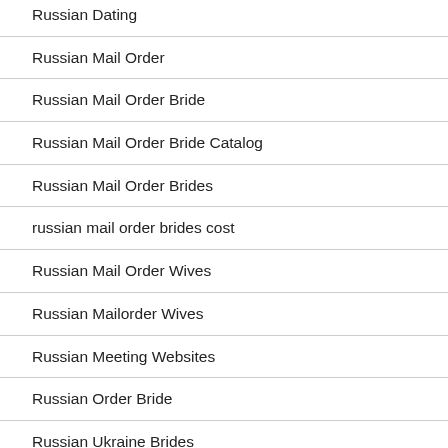Russian Dating
Russian Mail Order
Russian Mail Order Bride
Russian Mail Order Bride Catalog
Russian Mail Order Brides
russian mail order brides cost
Russian Mail Order Wives
Russian Mailorder Wives
Russian Meeting Websites
Russian Order Bride
Russian Ukraine Brides
Russian Wife Order